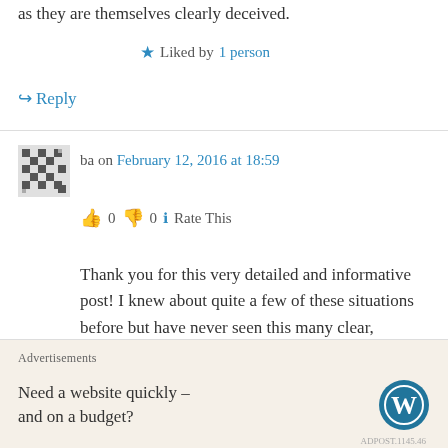as they are themselves clearly deceived.
★ Liked by 1 person
↪ Reply
ba on February 12, 2016 at 18:59
👍 0 👎 0 ℹ Rate This
Thank you for this very detailed and informative post! I knew about quite a few of these situations before but have never seen this many clear, documented objections laid out in one place. Great work.
I'm including a link (with credit, of course) to this
Advertisements
Need a website quickly – and on a budget?